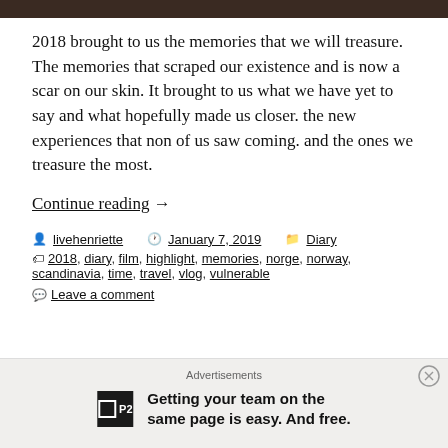[Figure (photo): Top image strip - partial photo showing dark tones at top of page]
2018 brought to us the memories that we will treasure. The memories that scraped our existence and is now a scar on our skin. It brought to us what we have yet to say and what hopefully made us closer. the new experiences that non of us saw coming. and the ones we treasure the most.
Continue reading →
livehenriette  January 7, 2019  Diary
2018, diary, film, highlight, memories, norge, norway, scandinavia, time, travel, vlog, vulnerable
Leave a comment
Advertisements
Getting your team on the same page is easy. And free.